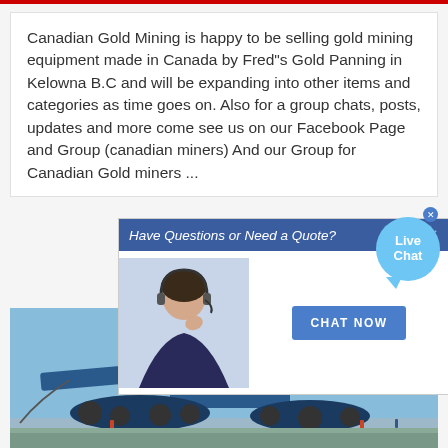Canadian Gold Mining is happy to be selling gold mining equipment made in Canada by Fred"s Gold Panning in Kelowna B.C and will be expanding into other items and categories as time goes on. Also for a group chats, posts, updates and more come see us on our Facebook Page and Group (canadian miners) And our Group for Canadian Gold miners ...
[Figure (screenshot): Live chat popup overlay showing a customer service agent with headset, a 'Have Questions or Need a Quote?' banner, a 'CHAT NOW' button, and a 'Live Chat' speech bubble icon.]
[Figure (photo): Large blue industrial mining machine (dredger or crawler crane) photographed against a blue sky, with small people visible at base for scale.]